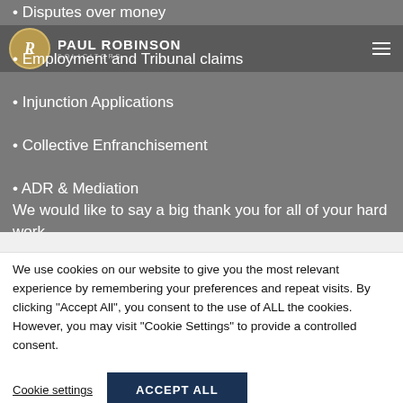PAUL ROBINSON SOLICITORS
Disputes over money
Employment and Tribunal claims
Injunction Applications
Collective Enfranchisement
ADR & Mediation
We would like to say a big thank you for all of your hard work.
Get in touch
We use cookies on our website to give you the most relevant experience by remembering your preferences and repeat visits. By clicking “Accept All”, you consent to the use of ALL the cookies. However, you may visit “Cookie Settings” to provide a controlled consent.
Cookie settings
ACCEPT ALL